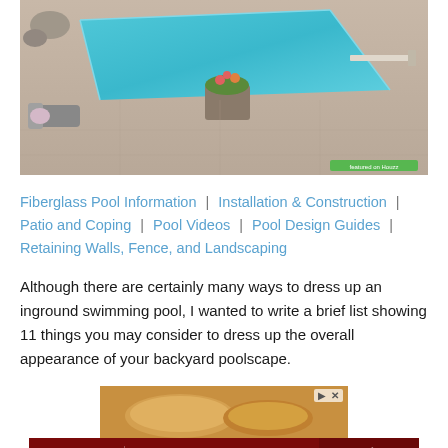[Figure (photo): Aerial/overhead view of an inground swimming pool with blue water, a diving board, lounge chairs, and a flower planter, surrounded by stone patio. Small 'featured on Houzz' badge in corner.]
Fiberglass Pool Information | Installation & Construction | Patio and Coping | Pool Videos | Pool Design Guides | Retaining Walls, Fence, and Landscaping
Although there are certainly many ways to dress up an inground swimming pool, I wanted to write a brief list showing 11 things you may consider to dress up the overall appearance of your backyard poolscape.
[Figure (photo): Advertisement banner. Top portion shows food item photo. Bottom banner is Capital Home Show ad: 'CAPITAL HOME SHOW | SEPT. 23-25 | DULLES EXPO CENTER | SAV $3 NOW | CLICK HERE' on dark red background.]